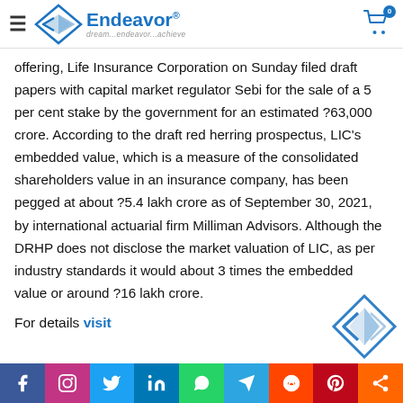Endeavor — dream...endeavor...achieve
offering, Life Insurance Corporation on Sunday filed draft papers with capital market regulator Sebi for the sale of a 5 per cent stake by the government for an estimated ?63,000 crore. According to the draft red herring prospectus, LIC's embedded value, which is a measure of the consolidated shareholders value in an insurance company, has been pegged at about ?5.4 lakh crore as of September 30, 2021, by international actuarial firm Milliman Advisors. Although the DRHP does not disclose the market valuation of LIC, as per industry standards it would about 3 times the embedded value or around ?16 lakh crore.
For details visit